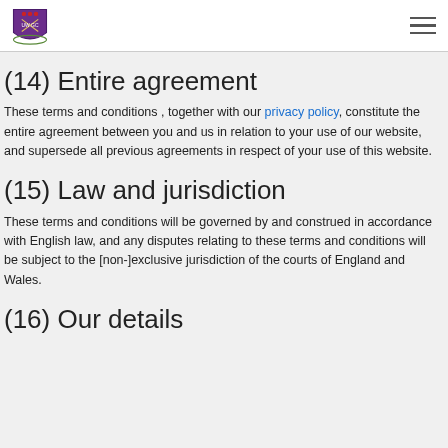UWGC logo and navigation
(14) Entire agreement
These terms and conditions , together with our privacy policy, constitute the entire agreement between you and us in relation to your use of our website, and supersede all previous agreements in respect of your use of this website.
(15) Law and jurisdiction
These terms and conditions will be governed by and construed in accordance with English law, and any disputes relating to these terms and conditions will be subject to the [non-]exclusive jurisdiction of the courts of England and Wales.
(16) Our details